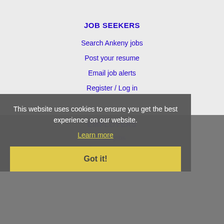JOB SEEKERS
Search Ankeny jobs
Post your resume
Email job alerts
Register / Log in
EMPLOYERS
Post jobs
Search resumes
Email resume alerts
Advertise
This website uses cookies to ensure you get the best experience on our website.
Learn more
Got it!